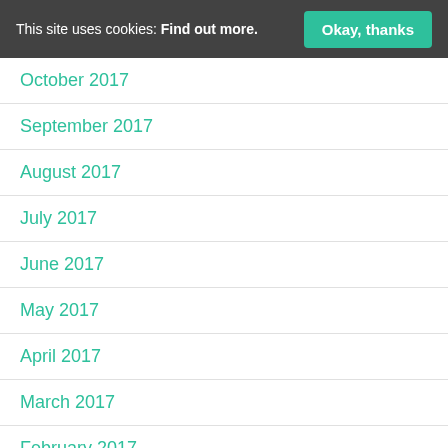This site uses cookies: Find out more. Okay, thanks
October 2017
September 2017
August 2017
July 2017
June 2017
May 2017
April 2017
March 2017
February 2017
January 2017
December 2016
November 2016